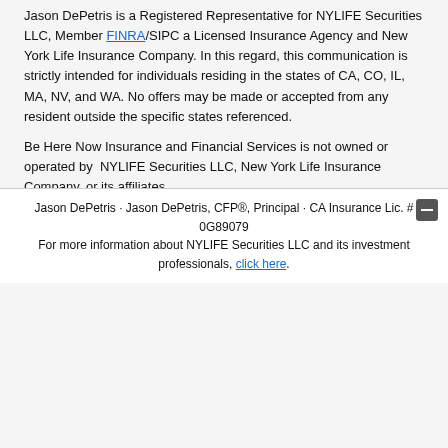Jason DePetris is a Registered Representative for NYLIFE Securities LLC, Member FINRA/SIPC a Licensed Insurance Agency and New York Life Insurance Company. In this regard, this communication is strictly intended for individuals residing in the states of CA, CO, IL, MA, NV, and WA. No offers may be made or accepted from any resident outside the specific states referenced.
Be Here Now Insurance and Financial Services is not owned or operated by NYLIFE Securities LLC, New York Life Insurance Company, or its affiliates.
For more information call (562) 394-2108
Copyright 2022. All Rights Reserved.
Jason DePetris · Jason DePetris, CFP®, Principal · CA Insurance Lic. # 0G89079
For more information about NYLIFE Securities LLC and its investment professionals, click here.